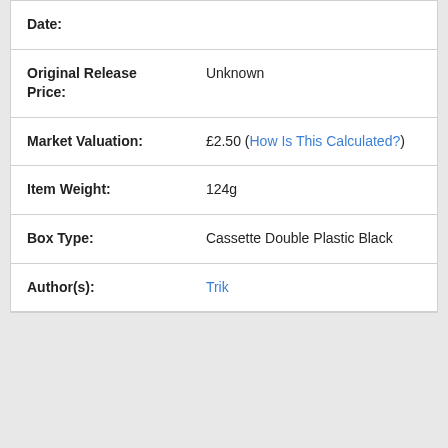| Field | Value |
| --- | --- |
| Date: |  |
| Original Release Price: | Unknown |
| Market Valuation: | £2.50 (How Is This Calculated?) |
| Item Weight: | 124g |
| Box Type: | Cassette Double Plastic Black |
| Author(s): | Trik |